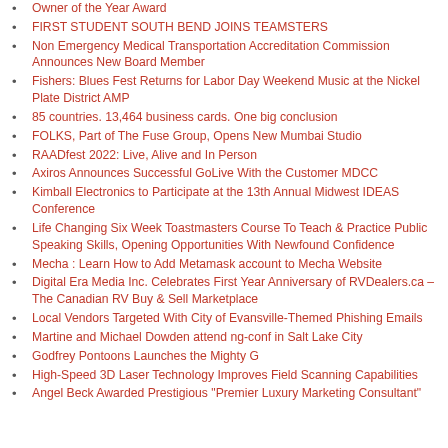Owner of the Year Award
FIRST STUDENT SOUTH BEND JOINS TEAMSTERS
Non Emergency Medical Transportation Accreditation Commission Announces New Board Member
Fishers: Blues Fest Returns for Labor Day Weekend Music at the Nickel Plate District AMP
85 countries. 13,464 business cards. One big conclusion
FOLKS, Part of The Fuse Group, Opens New Mumbai Studio
RAADfest 2022: Live, Alive and In Person
Axiros Announces Successful GoLive With the Customer MDCC
Kimball Electronics to Participate at the 13th Annual Midwest IDEAS Conference
Life Changing Six Week Toastmasters Course To Teach & Practice Public Speaking Skills, Opening Opportunities With Newfound Confidence
Mecha : Learn How to Add Metamask account to Mecha Website
Digital Era Media Inc. Celebrates First Year Anniversary of RVDealers.ca – The Canadian RV Buy & Sell Marketplace
Local Vendors Targeted With City of Evansville-Themed Phishing Emails
Martine and Michael Dowden attend ng-conf in Salt Lake City
Godfrey Pontoons Launches the Mighty G
High-Speed 3D Laser Technology Improves Field Scanning Capabilities
Angel Beck Awarded Prestigious "Premier Luxury Marketing Consultant"